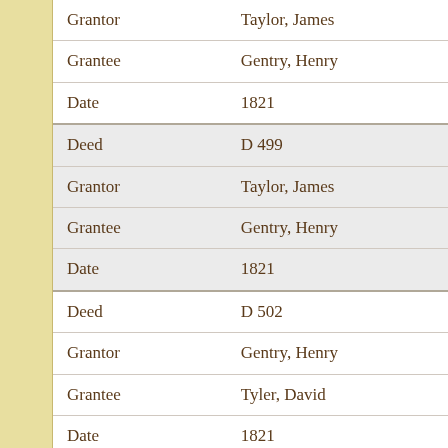| Field | Value |
| --- | --- |
| Grantor | Taylor, James |
| Grantee | Gentry, Henry |
| Date | 1821 |
| Deed | D 499 |
| Grantor | Taylor, James |
| Grantee | Gentry, Henry |
| Date | 1821 |
| Deed | D 502 |
| Grantor | Gentry, Henry |
| Grantee | Tyler, David |
| Date | 1821 |
| Deed | D 504 |
| Grantor | Gentry, Henry |